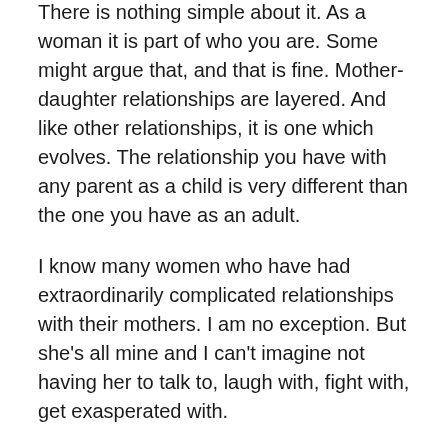There is nothing simple about it. As a woman it is part of who you are. Some might argue that, and that is fine. Mother-daughter relationships are layered. And like other relationships, it is one which evolves. The relationship you have with any parent as a child is very different than the one you have as an adult.
I know many women who have had extraordinarily complicated relationships with their mothers. I am no exception. But she's all mine and I can't imagine not having her to talk to, laugh with, fight with, get exasperated with.
I love my mother and to get that call “your mother is in the hospital” is just one of those your-stomach-sinks-like-a-stone moments. Especially when it's a woman who doesn't get sick.